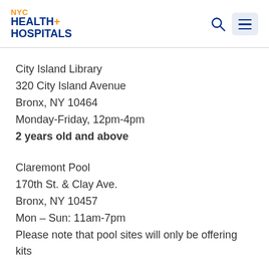NYC HEALTH+ HOSPITALS
City Island Library
320 City Island Avenue
Bronx, NY 10464
Monday-Friday, 12pm-4pm
2 years old and above
Claremont Pool
170th St. & Clay Ave.
Bronx, NY 10457
Mon – Sun: 11am-7pm
Please note that pool sites will only be offering kits